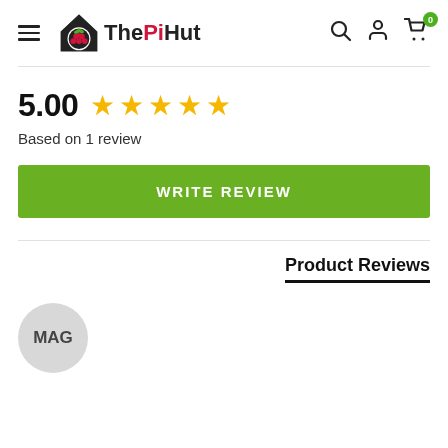[Figure (logo): The Pi Hut logo with hamburger menu icon on the left and search, user, cart icons on the right]
5.00  ★★★★★
Based on 1 review
WRITE REVIEW
Product Reviews
[Figure (illustration): MAG reviewer avatar circle]